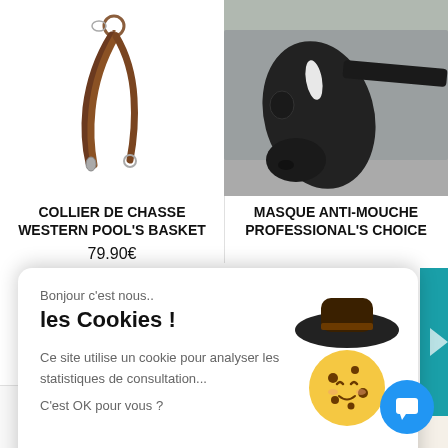[Figure (photo): Brown leather dog leash/collar on white background]
COLLIER DE CHASSE WESTERN POOL'S BASKET
79.90€
[Figure (photo): Horse wearing a black fly mask with grey blanket, outdoors]
MASQUE ANTI-MOUCHE PROFESSIONAL'S CHOICE
Bonjour c'est nous..
les Cookies !
Ce site utilise un cookie pour analyser les statistiques de consultation...
C'est OK pour vous ?
[Figure (illustration): Cartoon cookie character wearing a cowboy hat]
OK pour moi